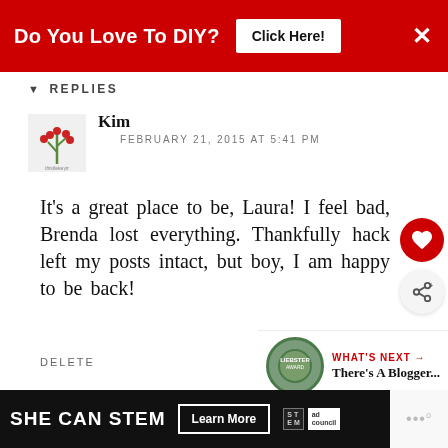[Figure (infographic): Red ad banner: 'Do You Love To DIY?' with 'Click Here!' button and X close button]
REPLIES
[Figure (logo): Blog avatar with red berry plant illustration]
Kim
FEBRUARY 21, 2015 AT 5:41 PM
It's a great place to be, Laura! I feel bad, Brenda lost everything. Thankfully hack left my posts intact, but boy, I am happy to be back!
DELETE
[Figure (infographic): WHAT'S NEXT arrow with Liebster Award badge and text 'There's A Blogger...']
REPLY
[Figure (infographic): Bottom ad banner: SHE CAN STEM with Learn More button, STEM logo, Ad Council logo]